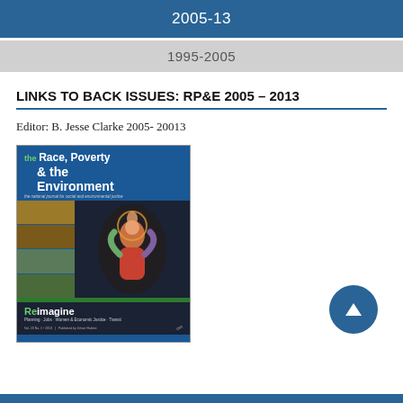2005-13
1995-2005
LINKS TO BACK ISSUES: RP&E 2005–2013
Editor:  B. Jesse Clarke 2005- 20013
[Figure (photo): Cover of Race, Poverty & the Environment journal — 'Reimagine' issue. Blue cover with bold title 'Race, Poverty & the Environment', collage of photos on the left, central artwork of a meditating figure, green bar, and subtitle 'Planning · Jobs · Women & Economic Justice · Transit'.]